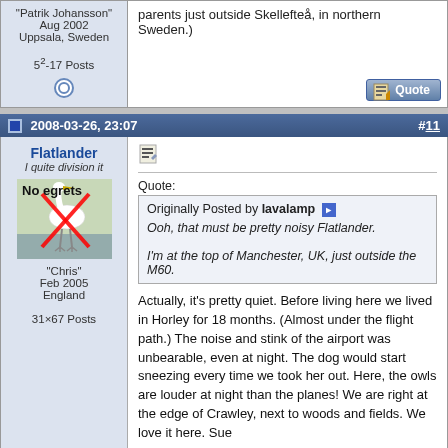"Patrik Johansson" Aug 2002 Uppsala, Sweden 5²-17 Posts
parents just outside Skellefteå, in northern Sweden.)
2008-03-26, 23:07
#11
Flatlander
I quite division it
"Chris"
Feb 2005
England
31×67 Posts
[Figure (photo): Avatar image showing an egret bird with a red X through it and text 'No egrets']
Quote:
Originally Posted by lavalamp
Ooh, that must be pretty noisy Flatlander.

I'm at the top of Manchester, UK, just outside the M60.

Actually, it's pretty quiet. Before living here we lived in Horley for 18 months. (Almost under the flight path.) The noise and stink of the airport was unbearable, even at night. The dog would start sneezing every time we took her out. Here, the owls are louder at night than the planes! We are right at the edge of Crawley, next to woods and fields. We love it here. Sue